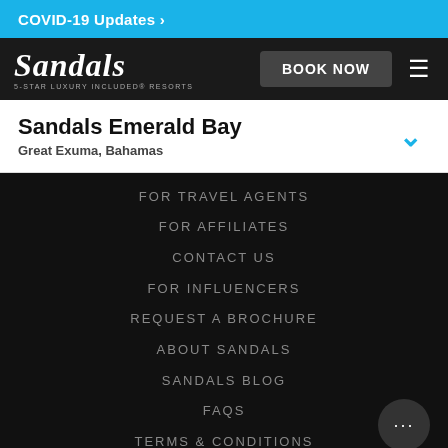COVID-19 Updates >
[Figure (logo): Sandals 5-Star Luxury Included Resorts logo in white italic text on dark background]
Sandals Emerald Bay
Great Exuma, Bahamas
FOR TRAVEL AGENTS
FOR AFFILIATES
CONTACT US
FOR INFLUENCERS
REQUEST A BROCHURE
ABOUT SANDALS
SANDALS BLOG
FAQS
TERMS & CONDITIONS